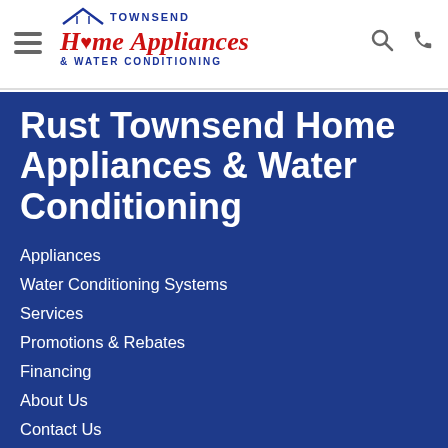Townsend Home Appliances & Water Conditioning — navigation header with logo, hamburger menu, search and phone icons
Rust Townsend Home Appliances & Water Conditioning
Appliances
Water Conditioning Systems
Services
Promotions & Rebates
Financing
About Us
Contact Us
Return & Store Policies